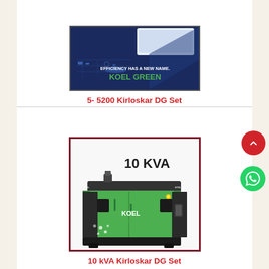[Figure (photo): KOEL GREEN banner advertisement showing industrial equipment with text 'EFFICIENCY HAS A NEW NAME. KOEL GREEN' on dark blue background]
5- 5200 Kirloskar DG Set
[Figure (photo): 10 KVA KOEL GREEN diesel generator set in green enclosure with black accents]
10 kVA Kirloskar DG Set